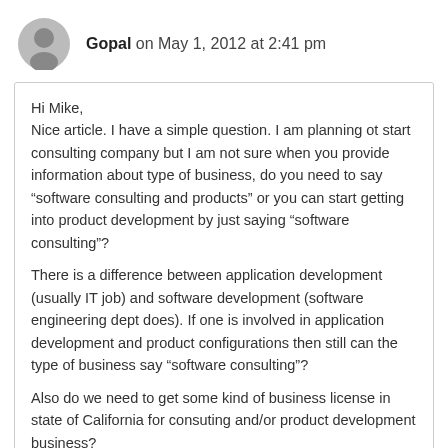Gopal on May 1, 2012 at 2:41 pm
Hi Mike,
Nice article. I have a simple question. I am planning ot start consulting company but I am not sure when you provide information about type of business, do you need to say “software consulting and products” or you can start getting into product development by just saying “software consulting”?
There is a difference between application development (usually IT job) and software development (software engineering dept does). If one is involved in application development and product configurations then still can the type of business say “software consulting”?
Also do we need to get some kind of business license in state of California for consuting and/or product development business?
Thanks.